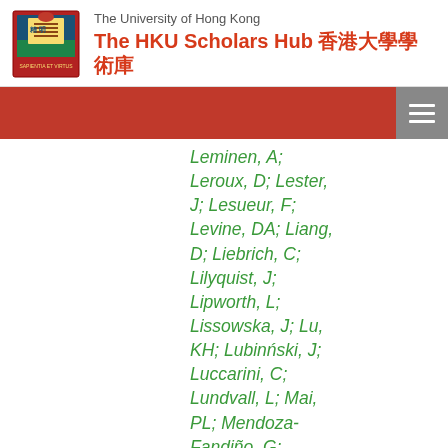The University of Hong Kong — The HKU Scholars Hub 香港大學學術庫
Leminen, A; Leroux, D; Lester, J; Lesueur, F; Levine, DA; Liang, D; Liebrich, C; Lilyquist, J; Lipworth, L; Lissowska, J; Lu, KH; Lubinński, J; Luccarini, C; Lundvall, L; Mai, PL; Mendoza-Fandiño, G; Manoukian, S; Massuger, LFAG; May, T; Mazoyer, S; McAlpine, JN;